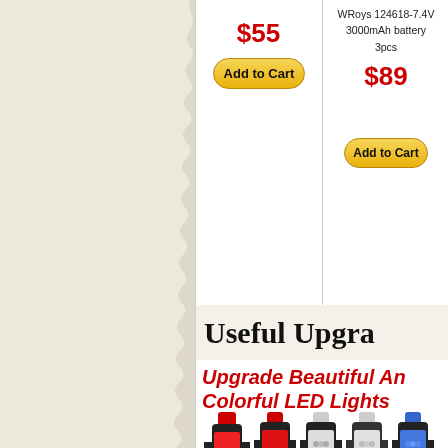$55
[Figure (other): Add to Cart button (yellow rounded rectangle)]
WRoys 124618-7.4V 3000mAh battery 3pcs
$89
[Figure (other): Add to Cart button (yellow rounded rectangle)]
Useful Upgrade
Upgrade Beautiful And Colorful LED Lights
[Figure (photo): Five bicycle tail lights in a row showing red, red, white/clear, white/clear, and blue LED colors, mounted on black brackets]